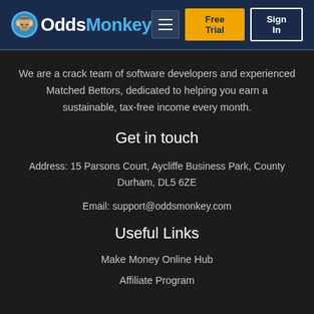OddsMonkey — Free Trial | Sign In
We are a crack team of software developers and experienced Matched Bettors, dedicated to helping you earn a sustainable, tax-free income every month.
Get in touch
Address: 15 Parsons Court, Aycliffe Business Park, County Durham, DL5 6ZE
Email: support@oddsmonkey.com
Useful Links
Make Money Online Hub
Affiliate Program